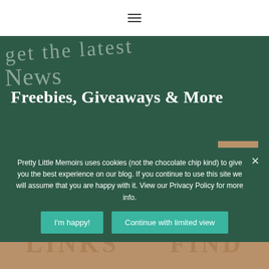[Figure (other): Hamburger/menu icon with three horizontal lines]
[Figure (illustration): Dark green banner section with cursive/script handwriting overlay text and bold serif headline reading 'Freebies, Giveaways & More' with newsletter signup form (First Name, Email Address fields and GO button)]
[Figure (other): Tan/brown section partially visible at bottom with large uppercase letters 'LINKS' and 'FIND' partially visible]
Pretty Little Memoirs uses cookies (not the chocolate chip kind) to give you the best experience on our blog. If you continue to use this site we will assume that you are happy with it. View our Privacy Policy for more info.
I'm happy!
Continue with limited view